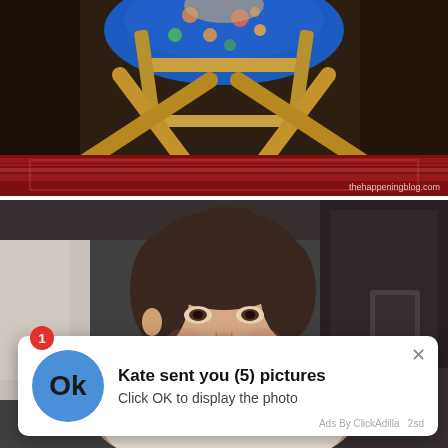[Figure (photo): Photo of a person sitting on a director's chair with a blue floral outfit, wooden folding chair legs visible, patterned rug on floor below, dark background. Watermark reads 'thehappeningblog.com' in bottom right.]
[Figure (photo): Selfie photo of a young woman with dark hair pulled up, wearing a white tank top, looking directly at camera with neutral expression, kitchen visible in background with dark appliances and countertops.]
[Figure (screenshot): Ad notification popup overlay on the bottom photo. Shows a blue circle with 'Ok' text, title 'Kate sent you (5) pictures', body text 'Click OK to display the photo', close X button, red badge with number 1, and footer 'Ads By ClickAdilla 2sd'.]